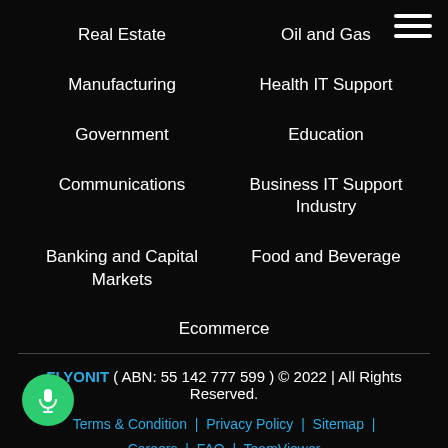Real Estate
Oil and Gas
Manufacturing
Health IT Support
Government
Education
Communications
Business IT Support Industry
Banking and Capital Markets
Food and Beverage
Ecommerce
FLYONIT ( ABN: 55 142 777 599 ) © 2022 | All Rights Reserved.
Terms & Condition | Privacy Policy | Sitemap | Careers | FAQ | TeamViewer